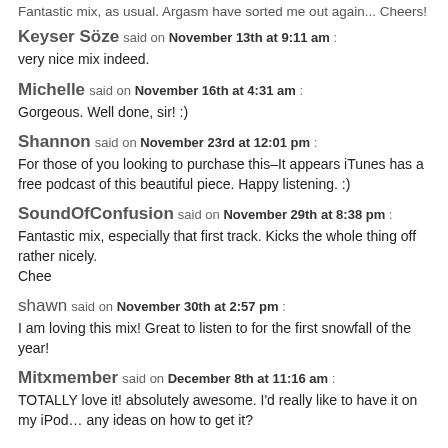Fantastic mix, as usual. Argasm have sorted me out again... Cheers!
Keyser Söze said on November 13th at 9:11 am :
very nice mix indeed.
Michelle said on November 16th at 4:31 am :
Gorgeous. Well done, sir! :)
Shannon said on November 23rd at 12:01 pm :
For those of you looking to purchase this–It appears iTunes has a free podcast of this beautiful piece. Happy listening. :)
SoundOfConfusion said on November 29th at 8:38 pm :
Fantastic mix, especially that first track. Kicks the whole thing off rather nicely.
Chee
shawn said on November 30th at 2:57 pm :
I am loving this mix! Great to listen to for the first snowfall of the year!
Mitxmember said on December 8th at 11:16 am :
TOTALLY love it! absolutely awesome. I'd really like to have it on my iPod… any ideas on how to get it?